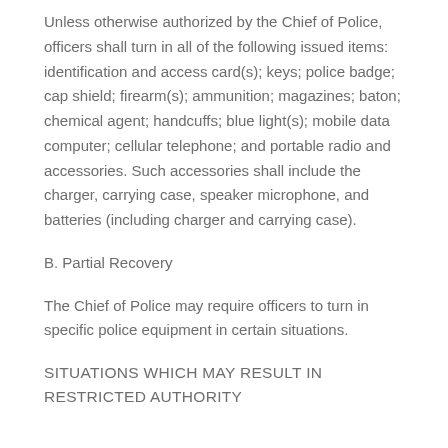Unless otherwise authorized by the Chief of Police, officers shall turn in all of the following issued items: identification and access card(s); keys; police badge; cap shield; firearm(s); ammunition; magazines; baton; chemical agent; handcuffs; blue light(s); mobile data computer; cellular telephone; and portable radio and accessories. Such accessories shall include the charger, carrying case, speaker microphone, and batteries (including charger and carrying case).
B. Partial Recovery
The Chief of Police may require officers to turn in specific police equipment in certain situations.
SITUATIONS WHICH MAY RESULT IN RESTRICTED AUTHORITY